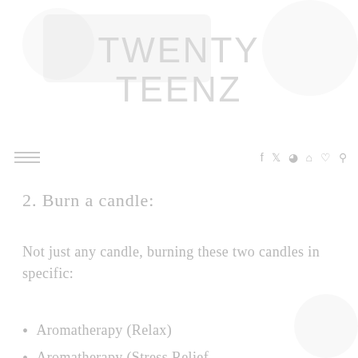TWENTY TEENZ
2. Burn a candle:
Not just any candle, burning these two candles in specific:
Aromatherapy (Relax)
Aromatherapy (Stress Relief